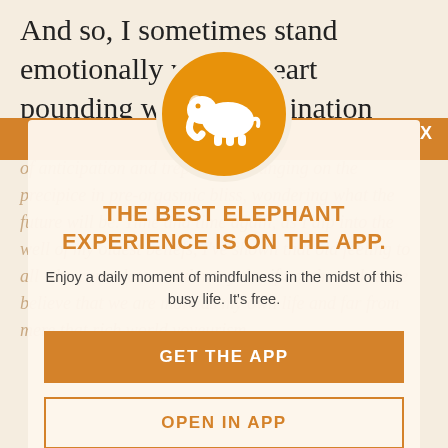And so, I sometimes stand emotionally naked, heart pounding with a combination of anticipation and trepidation, hanging on the precipice in pre-orgasmic bliss, wondering what the future will be. Time and time again, as I dip into the well of my...
[Figure (illustration): White elephant silhouette on an orange circular background, serving as an app logo/icon for the Elephant Journal app]
THE BEST ELEPHANT EXPERIENCE IS ON THE APP.
Enjoy a daily moment of mindfulness in the midst of this busy life. It's free.
GET THE APP
OPEN IN APP